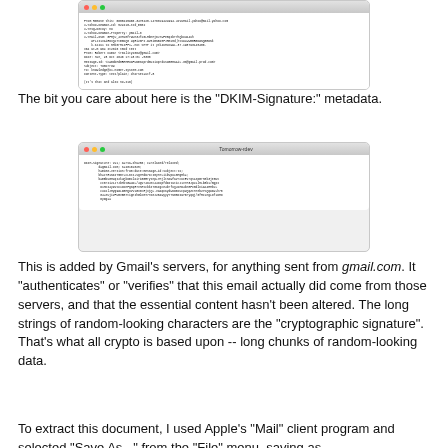[Figure (screenshot): Terminal/email header screenshot showing raw email metadata at the top of the page]
The bit you care about here is the "DKIM-Signature:" metadata.
[Figure (screenshot): Terminal window titled 'Tomorrow-rdev' showing DKIM-Signature metadata with cryptographic signature string]
This is added by Gmail's servers, for anything sent from gmail.com. It "authenticates" or "verifies" that this email actually did come from those servers, and that the essential content hasn't been altered. The long strings of random-looking characters are the "cryptographic signature". That's what all crypto is based upon -- long chunks of random-looking data.
To extract this document, I used Apple's "Mail" client program and selected "Save As..." from the "File" menu, saving as